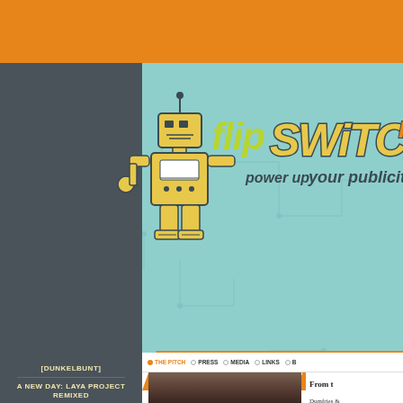[Figure (screenshot): Flip Switch PR website screenshot showing logo with robot mascot, orange and teal color scheme, Emily Smith North America page with navigation tabs (The Pitch, Press, Media, Links), left sidebar with artist links (Dunkelbunt, A New Day: Laya Project Remixed, Addis Acoustic Project, Afro Roots World Music Festival, Amadou & Mariam), photo of Emily Smith, and partial text 'From the Royal Smith... to the S...' and 'Dumfries... the leadin...']